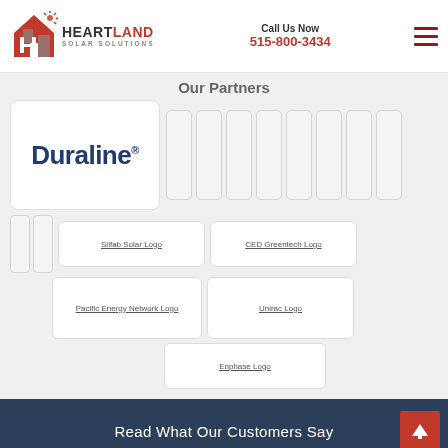Heartland Solar Solutions | Call Us Now 515-800-3434
Our Partners
[Figure (logo): Duraline logo in dark navy bold text inside white rounded card]
[Figure (logo): Silfab Solar Logo placeholder]
[Figure (logo): CED Greentech Logo placeholder]
[Figure (logo): Pacific Energy Network Logo placeholder]
[Figure (logo): Unirac Logo placeholder]
[Figure (logo): Enphase Logo placeholder]
Read What Our Customers Say